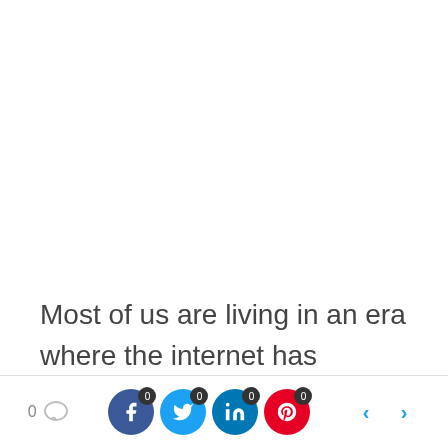Most of us are living in an era where the internet has become a crucial part of everything that we see or feel around. An internet based browser issues a gateway...
[Figure (infographic): Bottom social sharing bar with Facebook, Twitter, LinkedIn, Pinterest share buttons each showing a count badge of 0, a comment count showing 0, and left/right navigation arrows.]